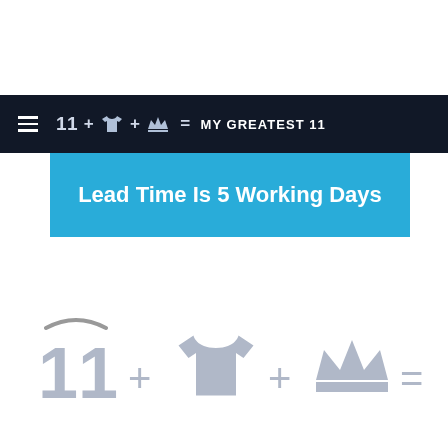11 + [shirt icon] + [crown icon] = MY GREATEST 11
Lead Time Is 5 Working Days
[Figure (infographic): Large grey icons: number 11 with arc mark, plus sign, t-shirt icon, plus sign, crown icon, equals sign]